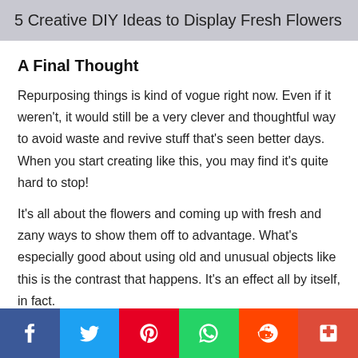5 Creative DIY Ideas to Display Fresh Flowers
A Final Thought
Repurposing things is kind of vogue right now. Even if it weren't, it would still be a very clever and thoughtful way to avoid waste and revive stuff that's seen better days. When you start creating like this, you may find it's quite hard to stop!
It's all about the flowers and coming up with fresh and zany ways to show them off to advantage. What's especially good about using old and unusual objects like this is the contrast that happens. It's an effect all by itself, in fact.